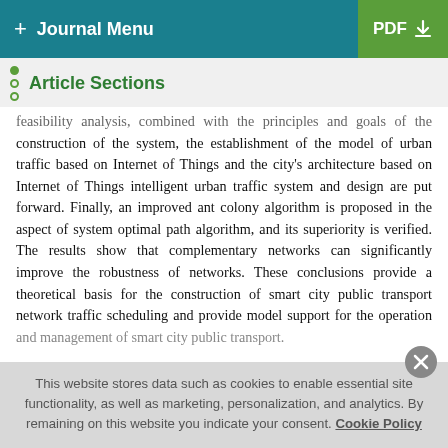+ Journal Menu | PDF
Article Sections
feasibility analysis, combined with the principles and goals of the construction of the system, the establishment of the model of urban traffic based on Internet of Things and the city's architecture based on Internet of Things intelligent urban traffic system and design are put forward. Finally, an improved ant colony algorithm is proposed in the aspect of system optimal path algorithm, and its superiority is verified. The results show that complementary networks can significantly improve the robustness of networks. These conclusions provide a theoretical basis for the construction of smart city public transport network traffic scheduling and provide model support for the operation and management of smart city public transport.
This website stores data such as cookies to enable essential site functionality, as well as marketing, personalization, and analytics. By remaining on this website you indicate your consent. Cookie Policy